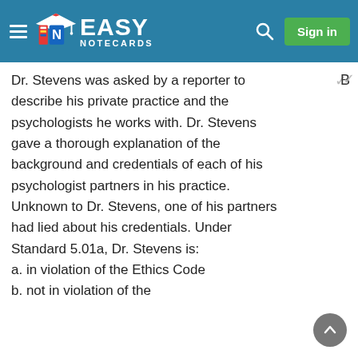Easy Notecards
Dr. Stevens was asked by a reporter to describe his private practice and the psychologists he works with. Dr. Stevens gave a thorough explanation of the background and credentials of each of his psychologist partners in his practice. Unknown to Dr. Stevens, one of his partners had lied about his credentials. Under Standard 5.01a, Dr. Stevens is:
a. in violation of the Ethics Code
b. not in violation of the
B